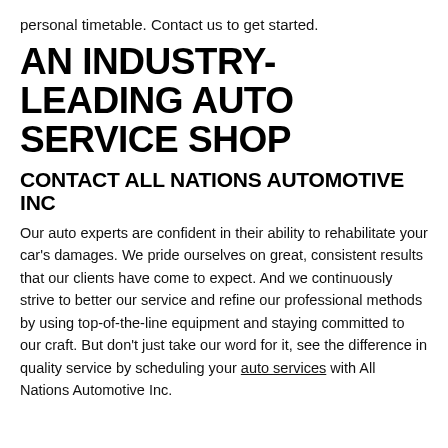personal timetable. Contact us to get started.
AN INDUSTRY-LEADING AUTO SERVICE SHOP
CONTACT ALL NATIONS AUTOMOTIVE INC
Our auto experts are confident in their ability to rehabilitate your car's damages. We pride ourselves on great, consistent results that our clients have come to expect. And we continuously strive to better our service and refine our professional methods by using top-of-the-line equipment and staying committed to our craft. But don't just take our word for it, see the difference in quality service by scheduling your auto services with All Nations Automotive Inc.